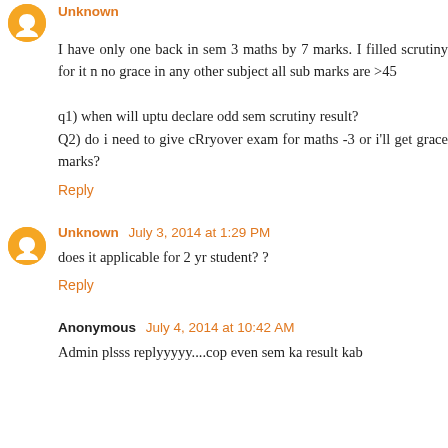I have only one back in sem 3 maths by 7 marks. I filled scrutiny for it n no grace in any other subject all sub marks are >45

q1) when will uptu declare odd sem scrutiny result?
Q2) do i need to give cRryover exam for maths -3 or i'll get grace marks?
Reply
Unknown July 3, 2014 at 1:29 PM
does it applicable for 2 yr student? ?
Reply
Anonymous July 4, 2014 at 10:42 AM
Admin plsss replyyyyy....cop even sem ka result kab